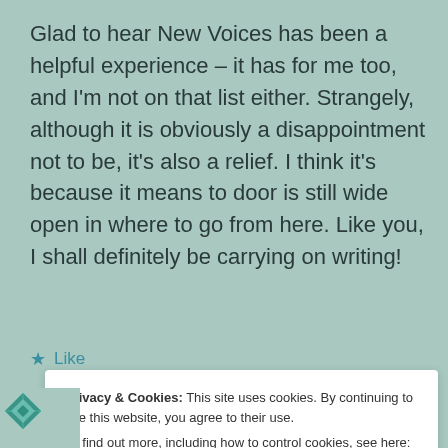Glad to hear New Voices has been a helpful experience – it has for me too, and I'm not on that list either. Strangely, although it is obviously a disappointment not to be, it's also a relief. I think it's because it means to door is still wide open in where to go from here. Like you, I shall definitely be carrying on writing!
★ Like
R –
Privacy & Cookies: This site uses cookies. By continuing to use this website, you agree to their use.
To find out more, including how to control cookies, see here: Cookie Policy
Close and accept